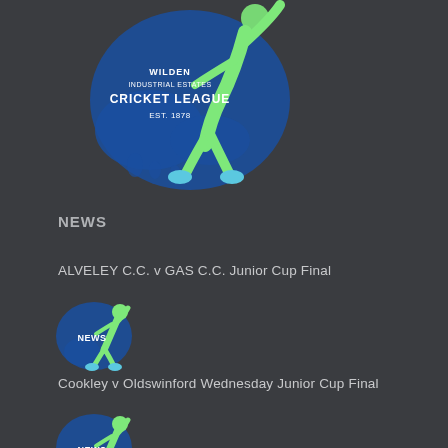[Figure (logo): Wilden Industrial Estates Cricket League logo with green cricket player silhouette and blue splash background, text reads WILDEN INDUSTRIAL ESTATES CRICKET LEAGUE EST. 1878]
NEWS
ALVELEY C.C. v GAS C.C. Junior Cup Final
[Figure (logo): News icon with blue blob and green cricket player silhouette with NEWS text]
Cookley v Oldswinford Wednesday Junior Cup Final
[Figure (logo): News icon with blue blob and green cricket player silhouette with NEWS text]